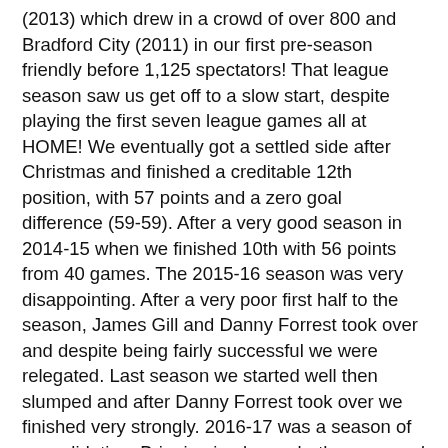(2013) which drew in a crowd of over 800 and Bradford City (2011) in our first pre-season friendly before 1,125 spectators! That league season saw us get off to a slow start, despite playing the first seven league games all at HOME! We eventually got a settled side after Christmas and finished a creditable 12th position, with 57 points and a zero goal difference (59-59). After a very good season in 2014-15 when we finished 10th with 56 points from 40 games. The 2015-16 season was very disappointing. After a very poor first half to the season, James Gill and Danny Forrest took over and despite being fairly successful we were relegated. Last season we started well then slumped and after Danny Forrest took over we finished very strongly. 2016-17 was a season of consolidation. Bringing in players both young and experienced to stablilise things and prepare for a successful 2017-18 season. So on to the 2017-18 season, and what a great record breaking season it was!! We started like a house on fire with 18 victories in the first 18 games! A league record. We finished off by winning the Division by four clear points. We